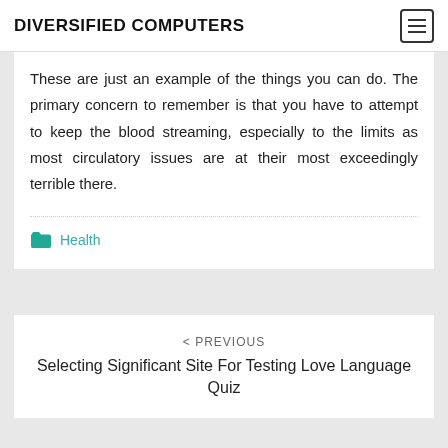DIVERSIFIED COMPUTERS
These are just an example of the things you can do. The primary concern to remember is that you have to attempt to keep the blood streaming, especially to the limits as most circulatory issues are at their most exceedingly terrible there.
Health
< PREVIOUS
Selecting Significant Site For Testing Love Language Quiz